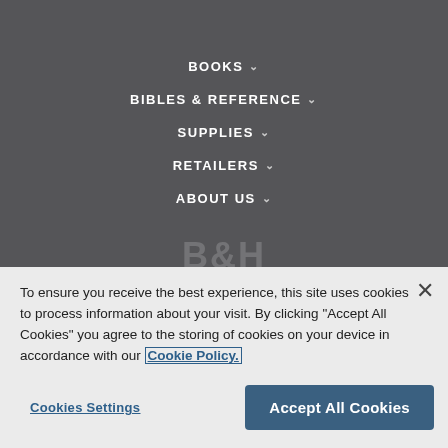BOOKS ∨
BIBLES & REFERENCE ∨
SUPPLIES ∨
RETAILERS ∨
ABOUT US ∨
[Figure (logo): B&H logo watermark in grey on dark background]
To ensure you receive the best experience, this site uses cookies to process information about your visit. By clicking "Accept All Cookies" you agree to the storing of cookies on your device in accordance with our Cookie Policy.
Cookies Settings
Accept All Cookies